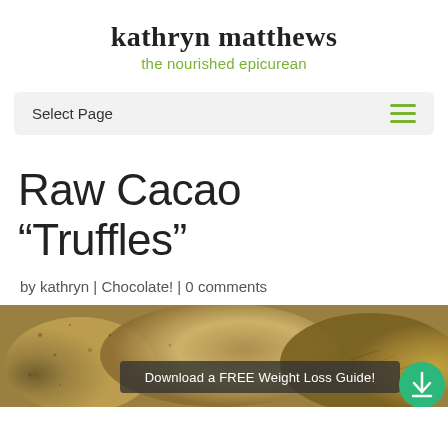kathryn matthews
the nourished epicurean
Select Page
Raw Cacao “Truffles”
by kathryn | Chocolate! | 0 comments
[Figure (photo): Photo of raw cacao truffles coated in various toppings, with a dark overlay bar reading 'Download a FREE Weight Loss Guide!' and a green circular download button on the right.]